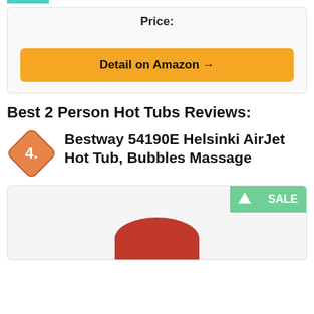Price:
Detail on Amazon →
Best 2 Person Hot Tubs Reviews:
4. Bestway 54190E Helsinki AirJet Hot Tub, Bubbles Massage
[Figure (photo): Product image of a hot tub with a SALE badge in the top right corner]